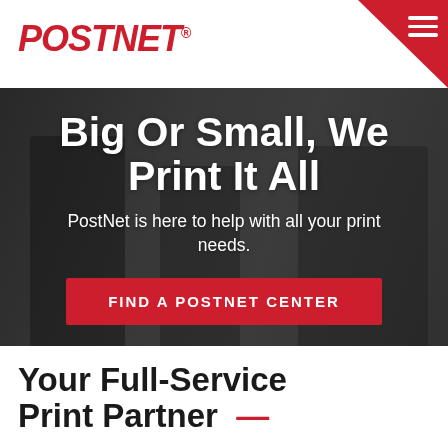POSTNET
[Figure (photo): Two PostNet employees assisting a customer at a print shop counter with printing equipment in the background. Dark overlay applied.]
Big Or Small, We Print It All
PostNet is here to help with all your print needs.
FIND A POSTNET CENTER
Your Full-Service Print Partner —